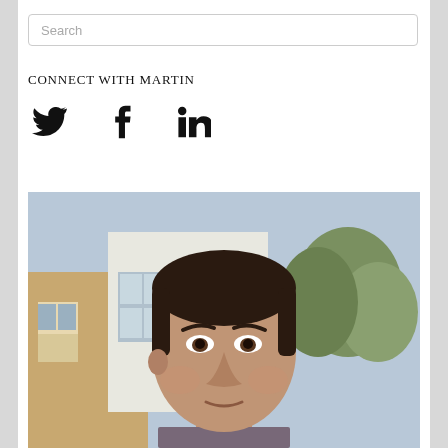Search
CONNECT WITH MARTIN
[Figure (infographic): Social media icons: Twitter bird, Facebook f, LinkedIn in]
[Figure (photo): Headshot of a man (Martin) with dark short hair, looking at the camera, outdoors with buildings and trees in the background]